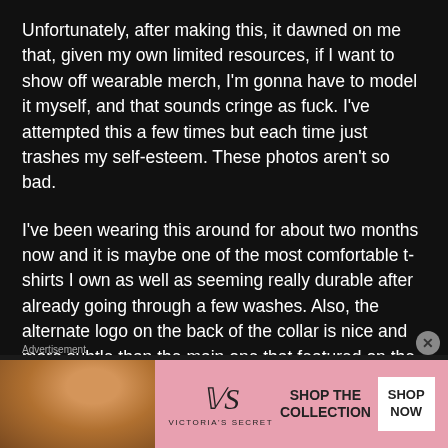Unfortunately, after making this, it dawned on me that, given my own limited resources, if I want to show off wearable merch, I'm gonna have to model it myself, and that sounds cringe as fuck. I've attempted this a few times but each time just trashes my self-esteem. These photos aren't so bad.
I've been wearing this around for about two months now and it is maybe one of the most comfortable t-shirts I own as well as seeming really durable after already going through a few washes. Also, the alternate logo on the back of the collar is nice and more subtle than the main one that featured on the
[Figure (photo): Victoria's Secret advertisement banner with a model's face on the left, pink background, VS logo and 'SHOP THE COLLECTION' text in the center, and 'SHOP NOW' button on the right]